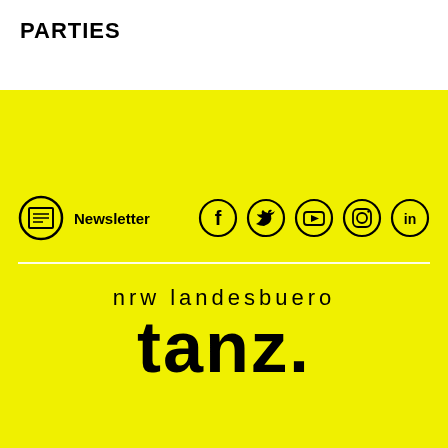PARTIES
[Figure (logo): Newsletter icon (newspaper in circle) and social media icons: Facebook, Twitter, YouTube, Instagram, LinkedIn]
[Figure (logo): nrw landesbuero tanz. logo on yellow background]
internationale tanzmesse nrw
nrw landesbuero tanz
Im MediaPark 7
50670 Köln, Germany
+49 (0)221-888 95 395
info@tanzmesse.com